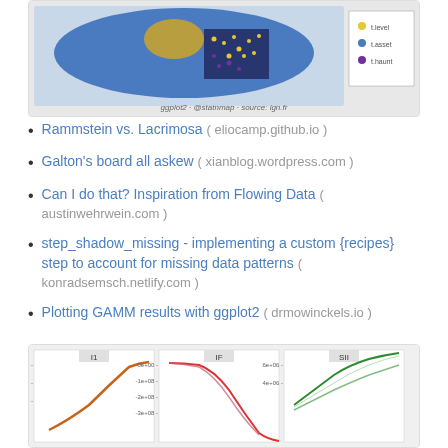[Figure (map): World map visualization rendered with ggplot2, showing blue globe with yellow/purple data points, with a legend on the right side. Caption reads: ggplot2 · @statnmap · source: ign.fr]
ggplot2 · @statnmap · source: ign.fr
Rammstein vs. Lacrimosa ( eliocamp.github.io )
Galton's board all askew ( xianblog.wordpress.com )
Can I do that? Inspiration from Flowing Data ( austinwehrwein.com )
step_shadow_missing - implementing a custom {recipes} step to account for missing data patterns ( konradsemsch.netlify.com )
Plotting GAMM results with ggplot2 ( drmowinckels.io )
[Figure (line-chart): Multi-panel line chart showing GAMM results with ggplot2. Three panels labeled I1, IF, and SII showing different line patterns in orange/red, red/pink, and green colors respectively. Y-axes show values from approximately 5000-20000, 0 to -3e+08, and 2e+06 to 6e+06.]